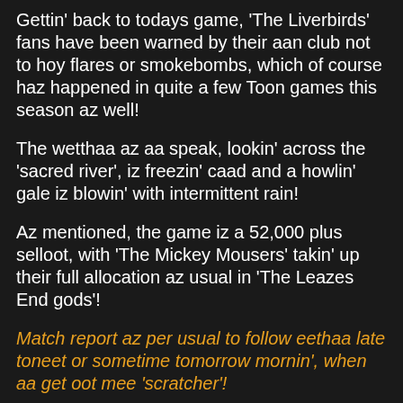Gettin' back to todays game, 'The Liverbirds' fans have been warned by their aan club not to hoy flares or smokebombs, which of course haz happened in quite a few Toon games this season az well!
The wetthaa az aa speak, lookin' across the 'sacred river', iz freezin' caad and a howlin' gale iz blowin' with intermittent rain!
Az mentioned, the game iz a 52,000 plus selloot, with 'The Mickey Mousers' takin' up their full allocation az usual in 'The Leazes End gods'!
Match report az per usual to follow eethaa late toneet or sometime tomorrow mornin', when aa get oot mee 'scratcher'!
PS: Apologeez for not updatin' this site yesterday, but av been 'stowed off' with graft and have been to West